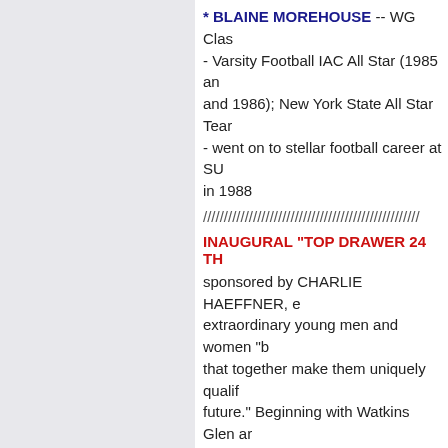* BLAINE MOREHOUSE -- WG Class - Varsity Football IAC All Star (1985 and 1986); New York State All Star Team and 1986); - went on to stellar football career at SU in 1988
////////////////////////////////////////////////////
INAUGURAL "TOP DRAWER 24 TH
sponsored by CHARLIE HAEFFNER, extraordinary young men and women "b that together make them uniquely qualif future." Beginning with Watkins Glen ar has since been extended to both Bradfor Members of this exclusive group from W
2006:
MOLLY MURPHY
SOPHIE PETERS
JACLYN CONKLIN
JON FAZZARY
ALAN McILROY
STEVE COMBS
JOHN M. BIANCO